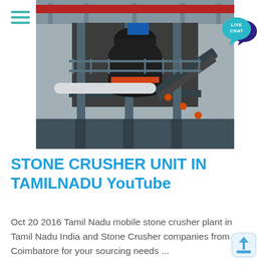[Figure (photo): Industrial stone crusher plant interior showing multi-level steel structure with conveyor belts and crushing machinery in a factory setting]
STONE CRUSHER UNIT IN TAMILNADU YouTube
Oct 20 2016 Tamil Nadu mobile stone crusher plant in Tamil Nadu India and Stone Crusher companies from Coimbatore for your sourcing needs ...